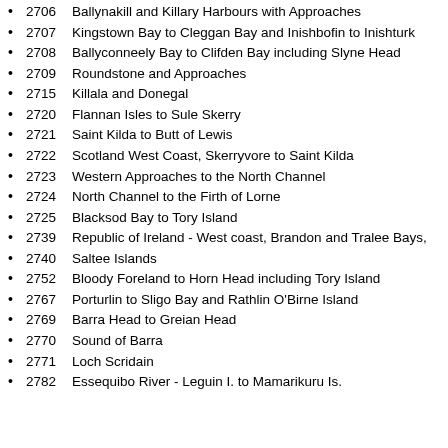2706    Ballynakill and Killary Harbours with Approaches
2707    Kingstown Bay to Cleggan Bay and Inishbofin to Inishturk
2708    Ballyconneely Bay to Clifden Bay including Slyne Head
2709    Roundstone and Approaches
2715    Killala and Donegal
2720    Flannan Isles to Sule Skerry
2721    Saint Kilda to Butt of Lewis
2722    Scotland West Coast, Skerryvore to Saint Kilda
2723    Western Approaches to the North Channel
2724    North Channel to the Firth of Lorne
2725    Blacksod Bay to Tory Island
2739    Republic of Ireland - West coast, Brandon and Tralee Bays,
2740    Saltee Islands
2752    Bloody Foreland to Horn Head including Tory Island
2767    Porturlin to Sligo Bay and Rathlin O'Birne Island
2769    Barra Head to Greian Head
2770    Sound of Barra
2771    Loch Scridain
2782    Essequibo River - Leguin I. to Mamarikuru Is.